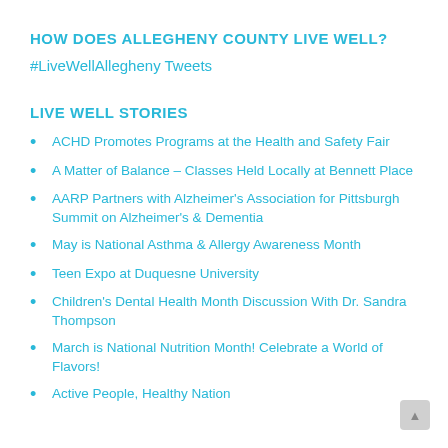HOW DOES ALLEGHENY COUNTY LIVE WELL?
#LiveWellAllegheny Tweets
LIVE WELL STORIES
ACHD Promotes Programs at the Health and Safety Fair
A Matter of Balance – Classes Held Locally at Bennett Place
AARP Partners with Alzheimer's Association for Pittsburgh Summit on Alzheimer's & Dementia
May is National Asthma & Allergy Awareness Month
Teen Expo at Duquesne University
Children's Dental Health Month Discussion With Dr. Sandra Thompson
March is National Nutrition Month! Celebrate a World of Flavors!
Active People, Healthy Nation